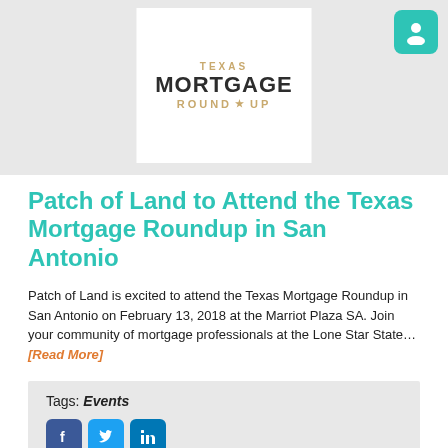[Figure (logo): Texas Mortgage Round Up logo — white box with 'TEXAS' in gold, 'MORTGAGE' in black bold, 'ROUND UP' in gold with star]
Patch of Land to Attend the Texas Mortgage Roundup in San Antonio
Patch of Land is excited to attend the Texas Mortgage Roundup in San Antonio on February 13, 2018 at the Marriot Plaza SA. Join your community of mortgage professionals at the Lone Star State... [Read More]
Tags: Events
[Figure (other): Social media share buttons: Facebook, Twitter, LinkedIn]